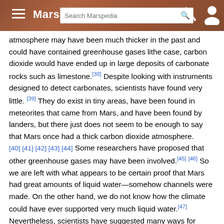Marspedia
atmosphere may have been much thicker in the past and could have contained greenhouse gases like the case, carbon dioxide would have ended up in large deposits of carbonate rocks such as limestone.[38] Despite looking with instruments designed to detect carbonates, scientists have found very little. [39] They do exist in tiny areas, have been found in meteorites that came from Mars, and have been found by landers, but there just does not seem to be enough to say that Mars once had a thick carbon dioxide atmosphere. [40] [41] [42] [43] [44] Some researchers have proposed that other greenhouse gases may have been involved.[45] [46] So we are left with what appears to be certain proof that Mars had great amounts of liquid water—somehow channels were made. On the other hand, we do not know how the climate could have ever supported very much liquid water.[47] Nevertheless, scientists have suggested many ways for channels to be created. We must keep in mind that the planet does not have to that warmed to 32 degrees F for running water to exist because water on Mars would likely contain dissolved minerals that would lower its freezing point.[48] Also, water may have collected in vast aquifers under the ground and released at different times by things such as heating from magma moving underground or by impacts of asteroids. After large impacts, the nearby area might be warm enough, long enough for water